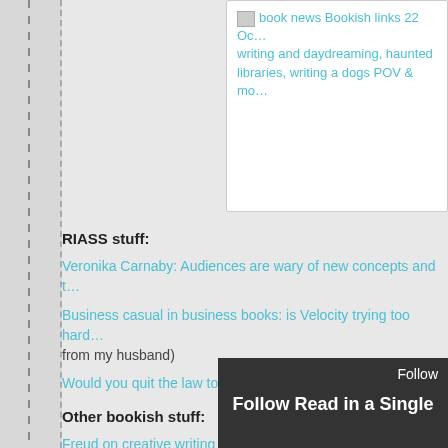[Figure (screenshot): Partial screenshot of a blog card showing a broken image icon and cyan link text: 'book news Bookish links 22 Oc... writing and daydreaming, haunted... libraries, writing a dogs POV & mo...']
RIASS stuff:
Veronika Carnaby: Audiences are wary of new concepts and t…
Business casual in business books: is Velocity trying too hard… from my husband)
Would you quit the law to follow your writing career? Promin…
Other bookish stuff:
Freud on creative writing and daydreaming'[A] … is a continuation of, and a substitute for, what wa… p
Gabrielle Prendergast c…
[Figure (screenshot): Follow overlay in dark gray showing 'Follow' button and text 'Follow Read in a Single']